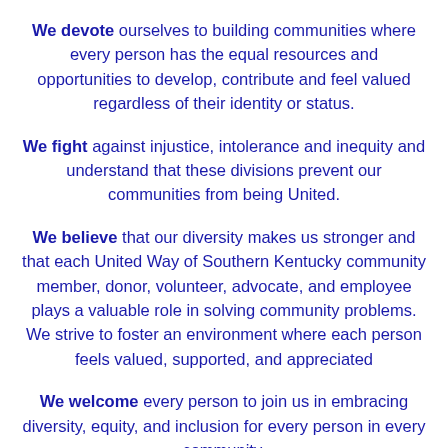We devote ourselves to building communities where every person has the equal resources and opportunities to develop, contribute and feel valued regardless of their identity or status.
We fight against injustice, intolerance and inequity and understand that these divisions prevent our communities from being United.
We believe that our diversity makes us stronger and that each United Way of Southern Kentucky community member, donor, volunteer, advocate, and employee plays a valuable role in solving community problems. We strive to foster an environment where each person feels valued, supported, and appreciated
We welcome every person to join us in embracing diversity, equity, and inclusion for every person in every community.